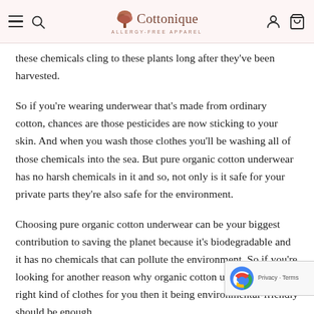Cottonique — Allergy-Free Apparel
these chemicals cling to these plants long after they've been harvested.
So if you're wearing underwear that's made from ordinary cotton, chances are those pesticides are now sticking to your skin. And when you wash those clothes you'll be washing all of those chemicals into the sea. But pure organic cotton underwear has no harsh chemicals in it and so, not only is it safe for your private parts they're also safe for the environment.
Choosing pure organic cotton underwear can be your biggest contribution to saving the planet because it's biodegradable and it has no chemicals that can pollute the environment. So if you're looking for another reason why organic cotton underwear is the right kind of clothes for you then it being environmental-friendly should be enough.